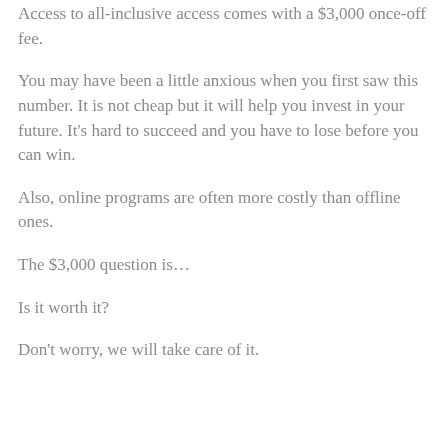Access to all-inclusive access comes with a $3,000 once-off fee.
You may have been a little anxious when you first saw this number. It is not cheap but it will help you invest in your future. It's hard to succeed and you have to lose before you can win.
Also, online programs are often more costly than offline ones.
The $3,000 question is…
Is it worth it?
Don't worry, we will take care of it.